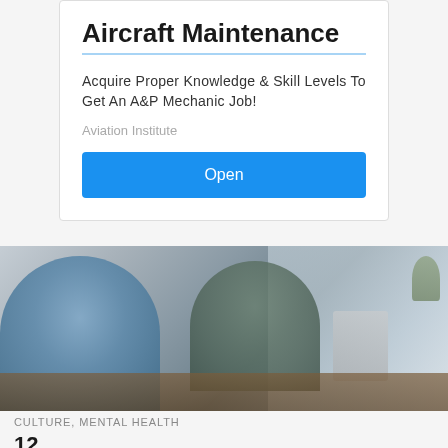Aircraft Maintenance
Acquire Proper Knowledge & Skill Levels To Get An A&P Mechanic Job!
Aviation Institute
Open
[Figure (photo): Two people sitting at a desk in an office setting, appearing to have a meeting or interview. A woman with blonde hair smiles across the table at a man in a light blue shirt. A computer monitor and plant are visible in the background.]
CULTURE, MENTAL HEALTH
12 proven...